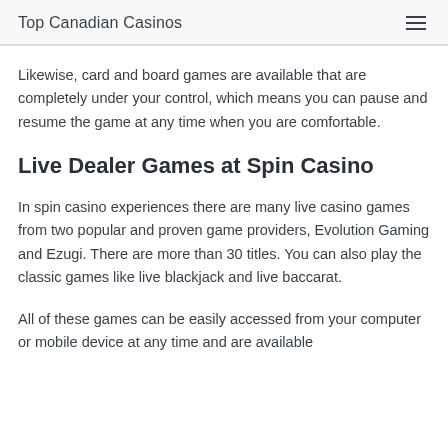Top Canadian Casinos
Likewise, card and board games are available that are completely under your control, which means you can pause and resume the game at any time when you are comfortable.
Live Dealer Games at Spin Casino
In spin casino experiences there are many live casino games from two popular and proven game providers, Evolution Gaming and Ezugi. There are more than 30 titles. You can also play the classic games like live blackjack and live baccarat.
All of these games can be easily accessed from your computer or mobile device at any time and are available